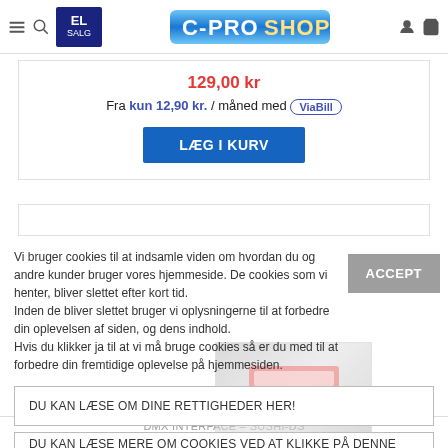EL SALG | C-PROSHOP navigation header
129,00 kr
Fra kun 12,90 kr. / måned med VIABILL
LÆG I KURV
Vi bruger cookies til at indsamle viden om hvordan du og andre kunder bruger vores hjemmeside. De cookies som vi henter, bliver slettet efter kort tid. Inden de bliver slettet bruger vi oplysningerne til at forbedre din oplevelsen af siden, og dens indhold. Hvis du klikker ja til at vi må bruge cookies så er du med til at forbedre din fremtidige oplevelse på hjemmesiden.
ACCEPT
DU KAN LÆSE OM DINE RETTIGHEDER HER!
DU KAN LÆSE MERE OM COOKIES VED AT KLIKKE PÅ DENNE LINJE
DMX INTERFACE – SUSHI-DS
419,00 kr